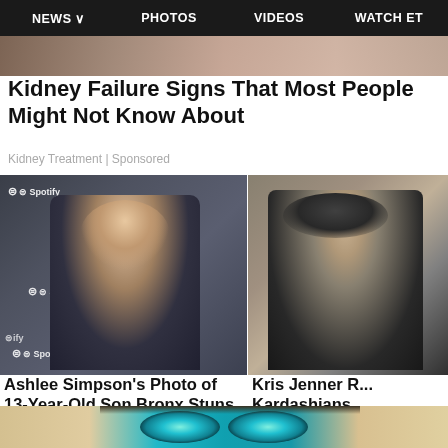NEWS  PHOTOS  VIDEOS  WATCH ET
[Figure (photo): Top partial image strip from Entertainment Tonight page]
Kidney Failure Signs That Most People Might Not Know About
Kidney Treatment | Sponsored
[Figure (photo): Ashlee Simpson posing in front of Spotify branded backdrop, wearing black blazer, hoop earrings]
[Figure (photo): Kris Jenner partial photo, dark clothing, short dark hair]
Ashlee Simpson's Photo of 13-Year-Old Son Bronx Stuns Fans
Entertainment Tonight
Kris Jenner R... Kardashians
Entertainment Tonight
[Figure (photo): Bottom partial strip showing close-up of eyes with turquoise/teal irises and blonde hair]